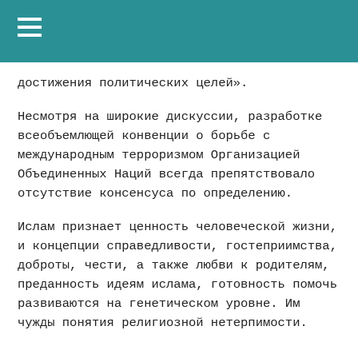достижения политических целей».
Несмотря на широкие дискуссии, разработке всеобъемлющей конвенции о борьбе с международным терроризмом Организацией Объединенных Наций всегда препятствовало отсутствие консенсуса по определению.
Ислам признает ценность человеческой жизни, и концепции справедливости, гостеприимства, доброты, чести, а также любви к родителям, преданность идеям ислама, готовность помочь развиваются на генетическом уровне. Им чужды понятия религиозной нетерпимости.